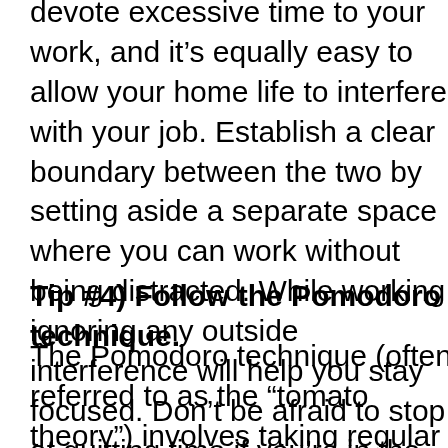devote excessive time to your work, and it's equally easy to allow your home life to interfere with your job. Establish a clear boundary between the two by setting aside a separate space where you can work without being distracted. While working, ignoring any outside interference will help you stay focused. Don't be afraid to stop at quitting time if you're in the middle of something. Doing so makes it just that much easier to get off to a quick start the next day.
Tip #4) Follow the Pomodoro technique.
The Pomodoro technique (often referred to as the “tomato theory”) involves taking regular short breaks during a lengthy work session. It has proved to be a genuine productivity enhancer, and it works like